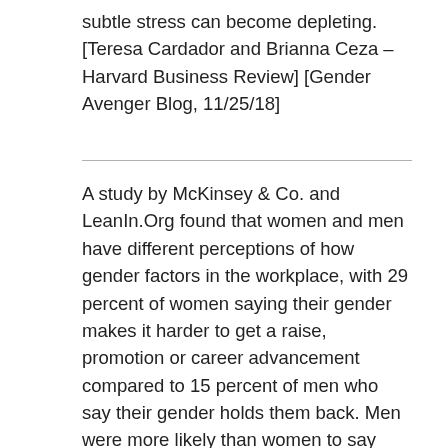subtle stress can become depleting. [Teresa Cardador and Brianna Ceza – Harvard Business Review] [Gender Avenger Blog, 11/25/18]
A study by McKinsey & Co. and LeanIn.Org found that women and men have different perceptions of how gender factors in the workplace, with 29 percent of women saying their gender makes it harder to get a raise, promotion or career advancement compared to 15 percent of men who say their gender holds them back. Men were more likely than women to say promotions at their company are based on fair and objective criteria (50 percent of men versus 43 percent of women). Moreover, 29 percent of women said they have been addressed in a less-than-